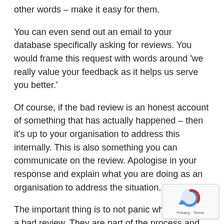other words – make it easy for them.
You can even send out an email to your database specifically asking for reviews. You would frame this request with words around 'we really value your feedback as it helps us serve you better.'
Of course, if the bad review is an honest account of something that has actually happened – then it's up to your organisation to address this internally. This is also something you can communicate on the review. Apologise in your response and explain what you are doing as an organisation to address the situation.
The important thing is to not panic when you get a bad review. They are part of the process and oft fleeting.